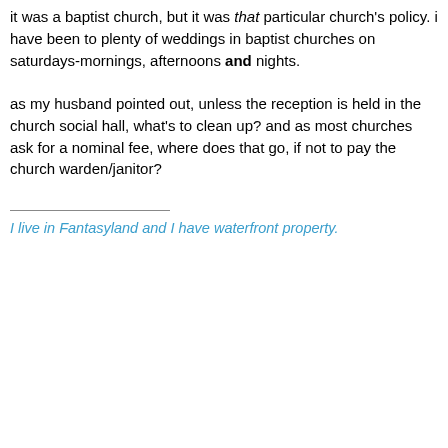it was a baptist church, but it was that particular church's policy. i have been to plenty of weddings in baptist churches on saturdays-mornings, afternoons and nights.

as my husband pointed out, unless the reception is held in the church social hall, what's to clean up? and as most churches ask for a nominal fee, where does that go, if not to pay the church warden/janitor?
I live in Fantasyland and I have waterfront property.
11-07-2007, 09:01 AM
ForeverRoses
GreekChat Member
Quote:
Originally Posted by FSUZeta
it was a baptist church, but it was that particular church's policy. i have been to plenty of weddings in baptist churches on saturdays-mornings, afternoons and nights.

as my husband pointed out, unless the reception is held in the church social hall, what's to clean up? and as most churches ask for a nominal fee, where does that go, if not to pay the church warden/janitor?